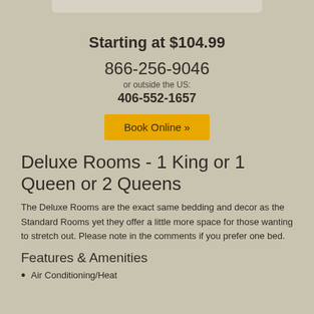Starting at $104.99
866-256-9046
or outside the US:
406-552-1657
Book Online »
Deluxe Rooms - 1 King or 1 Queen or 2 Queens
The Deluxe Rooms are the exact same bedding and decor as the Standard Rooms yet they offer a little more space for those wanting to stretch out. Please note in the comments if you prefer one bed.
Features & Amenities
Air Conditioning/Heat